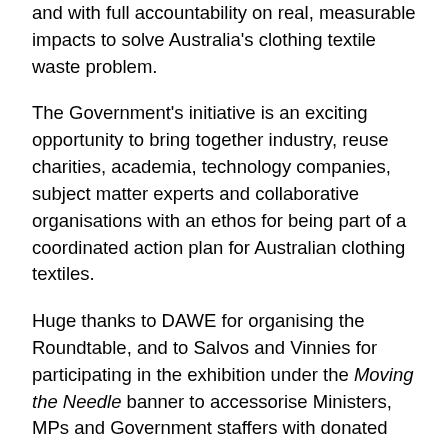and with full accountability on real, measurable impacts to solve Australia's clothing textile waste problem.
The Government's initiative is an exciting opportunity to bring together industry, reuse charities, academia, technology companies, subject matter experts and collaborative organisations with an ethos for being part of a coordinated action plan for Australian clothing textiles.
Huge thanks to DAWE for organising the Roundtable, and to Salvos and Vinnies for participating in the exhibition under the Moving the Needle banner to accessorise Ministers, MPs and Government staffers with donated ties and scarves that made for a very engaging, informative and educational exhibit